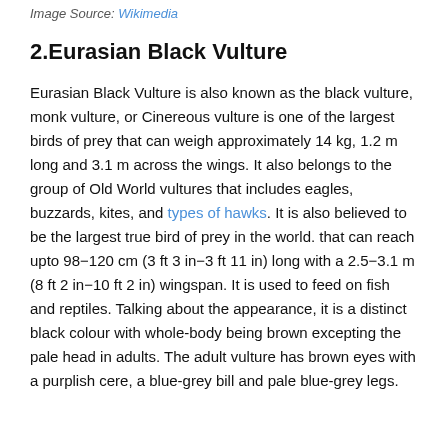Image Source: Wikimedia
2.Eurasian Black Vulture
Eurasian Black Vulture is also known as the black vulture, monk vulture, or Cinereous vulture is one of the largest birds of prey that can weigh approximately 14 kg, 1.2 m long and 3.1 m across the wings. It also belongs to the group of Old World vultures that includes eagles, buzzards, kites, and types of hawks. It is also believed to be the largest true bird of prey in the world. that can reach upto 98−120 cm (3 ft 3 in−3 ft 11 in) long with a 2.5−3.1 m (8 ft 2 in−10 ft 2 in) wingspan. It is used to feed on fish and reptiles. Talking about the appearance, it is a distinct black colour with whole-body being brown excepting the pale head in adults. The adult vulture has brown eyes with a purplish cere, a blue-grey bill and pale blue-grey legs.